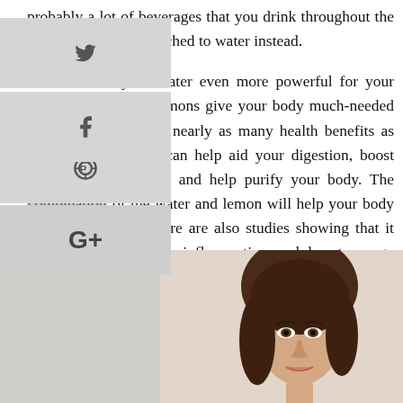probably a lot of beverages that you drink throughout the day that could be switched to water instead.
Want to make your water even more powerful for your body? Add lemon. Lemons give your body much-needed vitamin C which has nearly as many health benefits as the water itself. It can help aid your digestion, boost your immune system, and help purify your body. The combination of the water and lemon will help your body get rid of toxins. There are also studies showing that it can help reduce inflammation and boost energy levels.
[Figure (photo): Social media share buttons (Twitter, Facebook, Pinterest, Google+) displayed as a vertical sidebar on the left, and a photo of a young woman with brown hair at the bottom right of the page.]